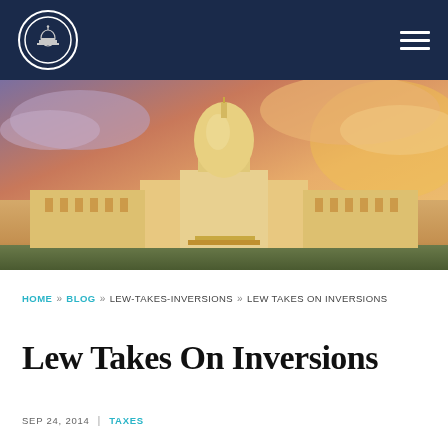[Figure (logo): Capitol building logo in a circle on dark navy navigation bar with hamburger menu icon]
[Figure (photo): Photograph of the US Capitol building at dusk/sunset with dramatic orange and purple cloudy sky]
HOME » BLOG » LEW-TAKES-INVERSIONS » LEW TAKES ON INVERSIONS
Lew Takes On Inversions
SEP 24, 2014 | TAXES